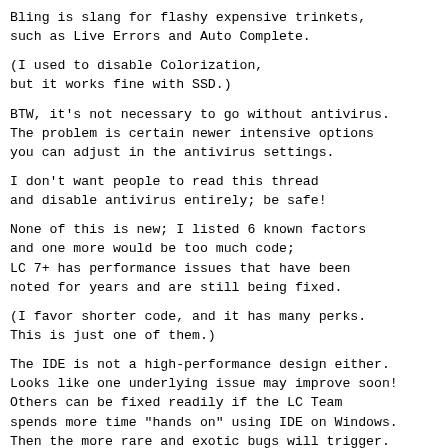Bling is slang for flashy expensive trinkets, such as Live Errors and Auto Complete.
(I used to disable Colorization, but it works fine with SSD.)
BTW, it's not necessary to go without antivirus. The problem is certain newer intensive options you can adjust in the antivirus settings.
I don't want people to read this thread and disable antivirus entirely; be safe!
None of this is new; I listed 6 known factors and one more would be too much code; LC 7+ has performance issues that have been noted for years and are still being fixed.
(I favor shorter code, and it has many perks. This is just one of them.)
The IDE is not a high-performance design either. Looks like one underlying issue may improve soon! Others can be fixed readily if the LC Team spends more time "hands on" using IDE on Windows. Then the more rare and exotic bugs will trigger.
Yet another LC problem on Windows is that each launch of each version of LC may launch a new Setup process that hangs in memory. Over time, you can end up